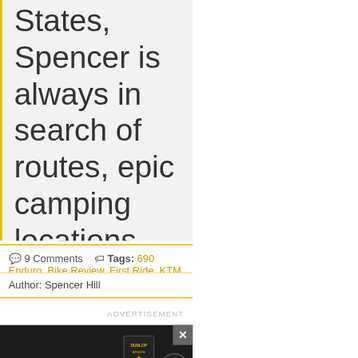States, Spencer is always in search of routes, epic camping locations and possible. He began writing shortly wheel travel to share his experience with his extensive backpacking, ca background.
9 Comments  Tags: 690 Enduro, Bike Review, First Ride, KTM
Author: Spencer Hill
ADVERTISEMENT
[Figure (photo): Dunlop advertisement banner: dark background with motorcycle rider, yellow stripe, Mission logo, Dunlop logo, and text 'LIFE IS MORE FUN WHEN YOU’RE ON A MISSION']